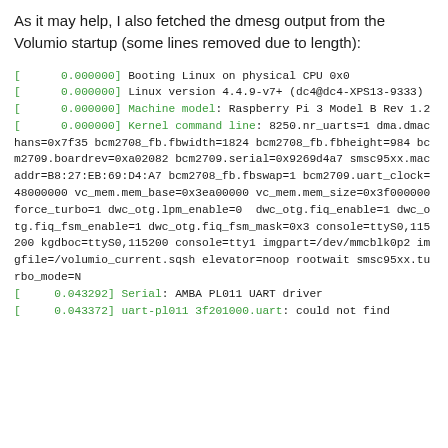As it may help, I also fetched the dmesg output from the Volumio startup (some lines removed due to length):
[      0.000000] Booting Linux on physical CPU 0x0
[      0.000000] Linux version 4.4.9-v7+ (dc4@dc4-XPS13-9333)
[      0.000000] Machine model: Raspberry Pi 3 Model B Rev 1.2
[      0.000000] Kernel command line: 8250.nr_uarts=1 dma.dmachans=0x7f35 bcm2708_fb.fbwidth=1824 bcm2708_fb.fbheight=984 bcm2709.boardrev=0xa02082 bcm2709.serial=0x9269d4a7 smsc95xx.macaddr=B8:27:EB:69:D4:A7 bcm2708_fb.fbswap=1 bcm2709.uart_clock=48000000 vc_mem.mem_base=0x3ea00000 vc_mem.mem_size=0x3f000000  force_turbo=1 dwc_otg.lpm_enable=0  dwc_otg.fiq_enable=1 dwc_otg.fiq_fsm_enable=1 dwc_otg.fiq_fsm_mask=0x3 console=ttyS0,115200 kgdboc=ttyS0,115200 console=tty1 imgpart=/dev/mmcblk0p2 imgfile=/volumio_current.sqsh elevator=noop rootwait smsc95xx.turbo_mode=N
[     0.043292] Serial: AMBA PL011 UART driver
[     0.043372] uart-pl011 3f201000.uart: could not find